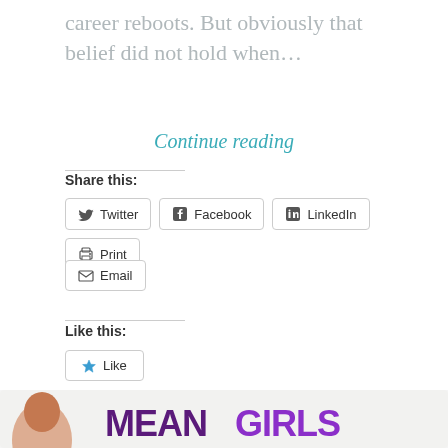career reboots. But obviously that belief did not hold when…
Continue reading
Share this:
Twitter
Facebook
LinkedIn
Print
Email
Like this:
Like
Be the first to like this.
[Figure (illustration): Mean Girls movie/show promotional banner with actress and large MEAN GIRLS logo in purple text]